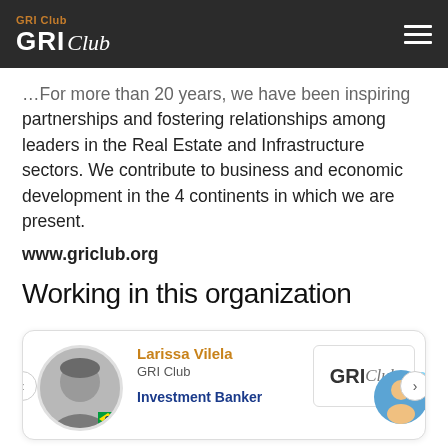GRI Club
For more than 20 years, we have been inspiring partnerships and fostering relationships among leaders in the Real Estate and Infrastructure sectors. We contribute to business and economic development in the 4 continents in which we are present.
www.griclub.org
Working in this organization
Larissa Vilela
GRI Club
Investment Banker